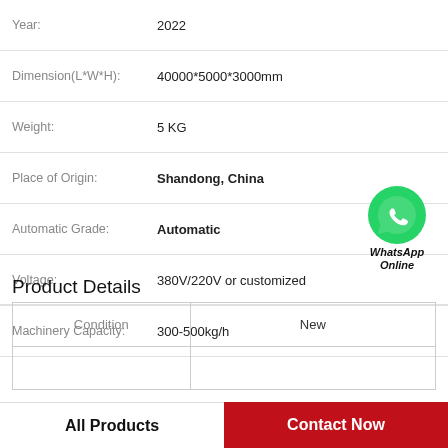| Property | Value |
| --- | --- |
| Year: | 2022 |
| Dimension(L*W*H): | 40000*5000*3000mm |
| Weight: | 5 KG |
| Place of Origin: | Shandong, China |
| Automatic Grade: | Automatic |
| Voltage: | 380V/220V or customized |
| Machinery Capacity: | 300-500kg/h |
[Figure (logo): WhatsApp Online green phone icon badge]
Product Details
| Condition | New |
| --- | --- |
| Condition | New |
All Products
Contact Now